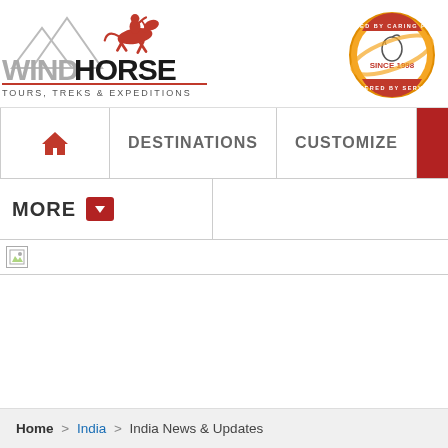[Figure (logo): WindHorse Tours, Treks & Expeditions logo with horse-and-rider illustration and text logo]
[Figure (logo): Circular badge seal: 'Powered by Caring People, Since 1998, Powered by Service' with horse head illustration, orange and gold ring]
[Figure (screenshot): Navigation bar with home icon, DESTINATIONS, CUSTOMIZE menu items and red search button]
[Figure (screenshot): MORE dropdown navigation item with red dropdown arrow]
[Figure (photo): Broken/loading image placeholder]
Home > India > India News & Updates